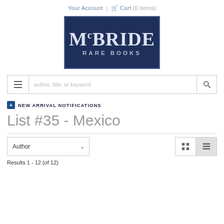Your Account | Cart (0 items)
[Figure (logo): McBride Rare Books logo: dark navy blue rectangle with white serif text reading 'McBRIDE RARE BOOKS']
author, title, or keyword (search bar)
+ NEW ARRIVAL NOTIFICATIONS
List #35 - Mexico
Author (sort dropdown)
Results 1 - 12 (of 12)